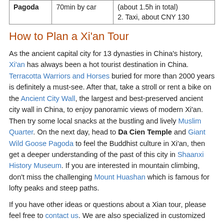| Pagoda | 70min by car | (about 1.5h in total)
2. Taxi, about CNY 130 |
| --- | --- | --- |
How to Plan a Xi'an Tour
As the ancient capital city for 13 dynasties in China's history, Xi'an has always been a hot tourist destination in China. Terracotta Warriors and Horses buried for more than 2000 years is definitely a must-see. After that, take a stroll or rent a bike on the Ancient City Wall, the largest and best-preserved ancient city wall in China, to enjoy panoramic views of modern Xi'an. Then try some local snacks at the bustling and lively Muslim Quarter. On the next day, head to Da Cien Temple and Giant Wild Goose Pagoda to feel the Buddhist culture in Xi'an, then get a deeper understanding of the past of this city in Shaanxi History Museum. If you are interested in mountain climbing, don't miss the challenging Mount Huashan which is famous for lofty peaks and steep paths.
If you have other ideas or questions about a Xian tour, please feel free to contact us. We are also specialized in customized